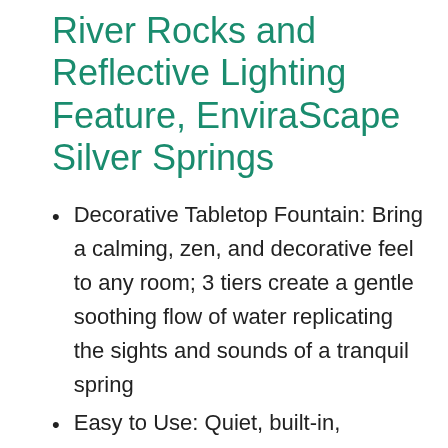River Rocks and Reflective Lighting Feature, EnviraScape Silver Springs
Decorative Tabletop Fountain: Bring a calming, zen, and decorative feel to any room; 3 tiers create a gentle soothing flow of water replicating the sights and sounds of a tranquil spring
Easy to Use: Quiet, built-in, submersible pump automatically circulates the water, keeping it free